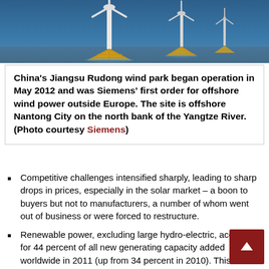[Figure (photo): Offshore wind turbines with yellow tripod foundations in blue water, Jiangsu Rudong wind park, China]
China's Jiangsu Rudong wind park began operation in May 2012 and was Siemens' first order for offshore wind power outside Europe. The site is offshore Nantong City on the north bank of the Yangtze River. (Photo courtesy Siemens)
Competitive challenges intensified sharply, leading to sharp drops in prices, especially in the solar market – a boon to buyers but not to manufacturers, a number of whom went out of business or were forced to restructure.
Renewable power, excluding large hydro-electric, accounted for 44 percent of all new generating capacity added worldwide in 2011 (up from 34 percent in 2010). This accounted for 31 percent of actual new power generated due to lower capacity factors for solar and wind capacity.